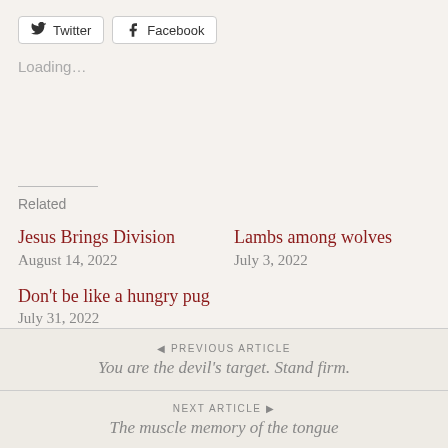Twitter  Facebook
Loading...
Related
Jesus Brings Division
August 14, 2022
Lambs among wolves
July 3, 2022
Don't be like a hungry pug
July 31, 2022
◄ PREVIOUS ARTICLE
You are the devil's target. Stand firm.
NEXT ARTICLE ►
The muscle memory of the tongue